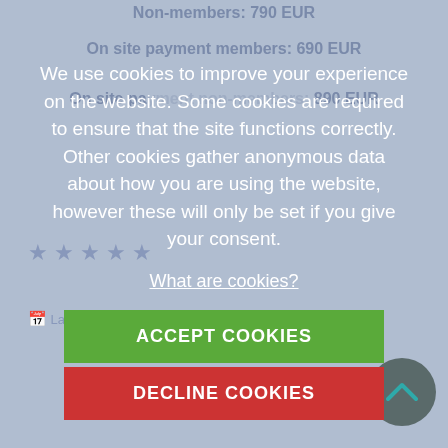Non-members: 790 EUR
On site payment members: 690 EUR
On site payment non-members: 890 EUR
★ ★ ★ ★ ★
Last Modified: ...
Related Articles
*AOVET—Small Animal Masters Programme ... Focus on Small and Toy Br...
*FIXIN BASIC COURSE - HELD ...
We use cookies to improve your experience on the website. Some cookies are required to ensure that the site functions correctly. Other cookies gather anonymous data about how you are using the website, however these will only be set if you give your consent.
What are cookies?
ACCEPT COOKIES
DECLINE COOKIES
f  (Facebook share button)
Twitter share button
g+ (Google+ share button)
Pinterest share button
♥  0
ADVANCED
COURSE
FIXIN
orthopedics